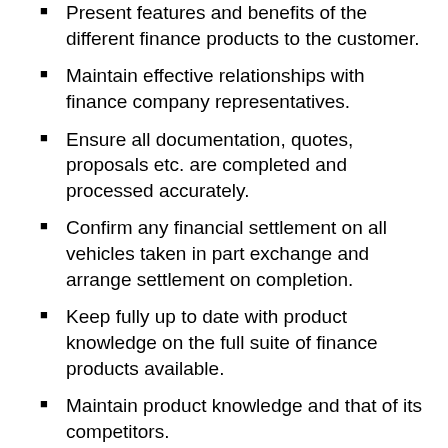Present features and benefits of the different finance products to the customer.
Maintain effective relationships with finance company representatives.
Ensure all documentation, quotes, proposals etc. are completed and processed accurately.
Confirm any financial settlement on all vehicles taken in part exchange and arrange settlement on completion.
Keep fully up to date with product knowledge on the full suite of finance products available.
Maintain product knowledge and that of its competitors.
Maintain supportive relationships with the sales team
Maintain safe working practices always as detailed by the…